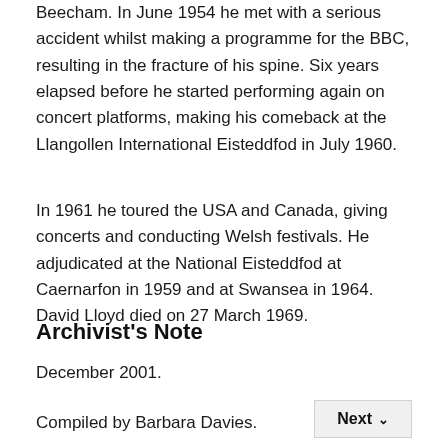Beecham. In June 1954 he met with a serious accident whilst making a programme for the BBC, resulting in the fracture of his spine. Six years elapsed before he started performing again on concert platforms, making his comeback at the Llangollen International Eisteddfod in July 1960.
In 1961 he toured the USA and Canada, giving concerts and conducting Welsh festivals. He adjudicated at the National Eisteddfod at Caernarfon in 1959 and at Swansea in 1964. David Lloyd died on 27 March 1969.
Archivist's Note
December 2001.
Compiled by Barbara Davies.